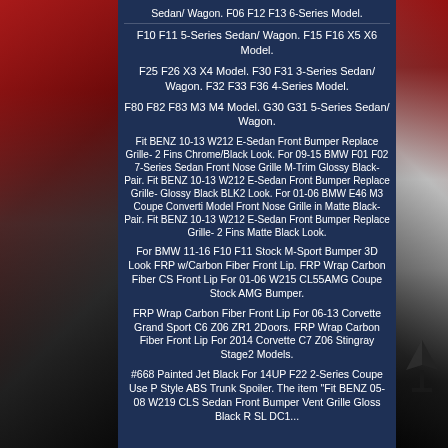Sedan/ Wagon. F06 F12 F13 6-Series Model.
F10 F11 5-Series Sedan/ Wagon. F15 F16 X5 X6 Model.
F25 F26 X3 X4 Model. F30 F31 3-Series Sedan/ Wagon. F32 F33 F36 4-Series Model.
F80 F82 F83 M3 M4 Model. G30 G31 5-Series Sedan/ Wagon.
Fit BENZ 10-13 W212 E-Sedan Front Bumper Replace Grille- 2 Fins Chrome/Black Look. For 09-15 BMW F01 F02 7-Series Sedan Front Nose Grille M-Trim Glossy Black- Pair. Fit BENZ 10-13 W212 E-Sedan Front Bumper Replace Grille- Glossy Black BLK2 Look. For 01-06 BMW E46 M3 Coupe Converti Model Front Nose Grille in Matte Black- Pair. Fit BENZ 10-13 W212 E-Sedan Front Bumper Replace Grille- 2 Fins Matte Black Look.
For BMW 11-16 F10 F11 Stock M-Sport Bumper 3D Look FRP w/Carbon Fiber Front Lip. FRP Wrap Carbon Fiber CS Front Lip For 01-06 W215 CL55AMG Coupe Stock AMG Bumper.
FRP Wrap Carbon Fiber Front Lip For 06-13 Corvette Grand Sport C6 Z06 ZR1 2Doors. FRP Wrap Carbon Fiber Front Lip For 2014 Corvette C7 Z06 Stingray Stage2 Models.
#668 Painted Jet Black For 14UP F22 2-Series Coupe Use P Style ABS Trunk Spoiler. The item "Fit BENZ 05-08 W219 CLS Sedan Front Bumper Vent Grille Gloss Black R SL DC1...